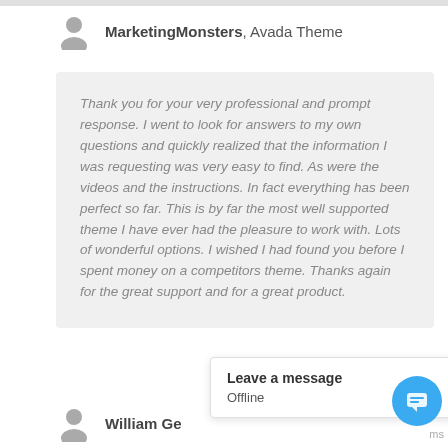MarketingMonsters, Avada Theme
Thank you for your very professional and prompt response. I went to look for answers to my own questions and quickly realized that the information I was requesting was very easy to find. As were the videos and the instructions. In fact everything has been perfect so far. This is by far the most well supported theme I have ever had the pleasure to work with. Lots of wonderful options. I wished I had found you before I spent money on a competitors theme. Thanks again for the great support and for a great product.
William Ge
Leave a message
Offline